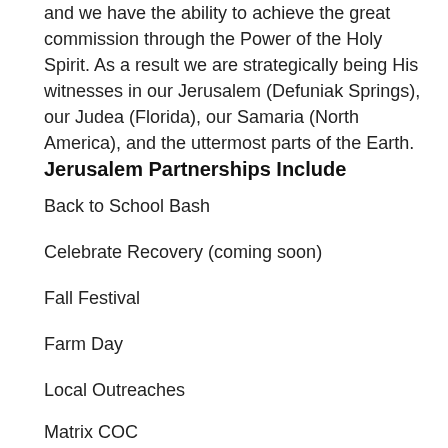and we have the ability to achieve the great commission through the Power of the Holy Spirit. As a result we are strategically being His witnesses in our Jerusalem (Defuniak Springs), our Judea (Florida), our Samaria (North America), and the uttermost parts of the Earth.
Jerusalem Partnerships Include
Back to School Bash
Celebrate Recovery (coming soon)
Fall Festival
Farm Day
Local Outreaches
Matrix COC